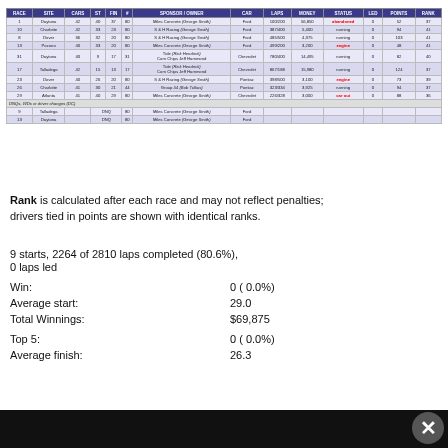| RACE | SITE | CARS | ST | FIN | # | SPONSOR / OWNER | CAR | LAPS | MONEY | STATUS | LED | POINTS | RANK |
| --- | --- | --- | --- | --- | --- | --- | --- | --- | --- | --- | --- | --- | --- |
| 1 | Daytona | 42 | 40 | 37 | 80 | Miles Concrete (George Smith) | Ford | 100/200 | 56,850 | abandoned | 0 | 52 | 37 |
| 10 | Charlotte | 42 | 33 | 23 | 80 | S & H Racing (George Smith) | Ford | 387/400 | 5,400 | running | 0 | 94 | 41 |
| 8 | Dover | 36 | 32 | 20 | 80 | S & H Racing (George Smith) | Ford | 485/500 | 4,375 | running | 0 | 103 | 41 |
| 13 | Pocono | 40 | 33 | 20 | 80 | Miles Concrete (George Smith) | Ford | 499/200 | 3,200 | engine | 0 | 48 | 41 |
| 31 | Daytona | 40 | 9 | 17 | 31 | Tide (Rick Hendrick) / Corn Chips Jeff Hammond | Chevrolet | 780/400 | 14,495 | running | 0 | 82 | 40 |
| 17 | Talladega | 42 | 15 | 13 | 17 | Tide (Rick Hendrick) / Corn Chips Jeff Hammond | Chevrolet | 867/188 | 15,980 | running | 0 | 124 | 37 |
| 23 | Dover | 40 | 26 | 20 | 80 | S & H Racing (George Smith) | Pontiac | 398/500 | 3,100 | engine | 0 | 73 | 39 |
| 26 | Charlotte | 41 | 30 | 21 | 44 | Group 44 (Bob Tullius) | Pontiac | 323/334 | 3,925 | running | 0 | 94 | 37 |
| 29 | Atlanta | 41 | 40 | 29 | 80 | Miles Concrete (George Smith) | Chevrolet | 226/328 | 3,000 | car out | 0 | 88 | 36 |
| RACE | SITE | CARS | ST | FIN | # | SPONSOR / OWNER | CAR | LAPS | MONEY | STATUS | LED | POINTS | RANK |
| --- | --- | --- | --- | --- | --- | --- | --- | --- | --- | --- | --- | --- | --- |
| 9 | Talladega |  |  | DNQ |  | 80 | Miles Concrete (George Smith) | Ford |  |  |  |  |  |  |
| 13 | Daytona |  |  | DNQ |  | 80 | Miles Concrete (George Smith) | Ford |  |  |  |  |  |  |
Rank is calculated after each race and may not reflect penalties; drivers tied in points are shown with identical ranks.
9 starts, 2264 of 2810 laps completed (80.6%), 0 laps led
Win: 0 ( 0.0%)
Average start: 29.0
Total Winnings: $69,875
Top 5: 0 ( 0.0%)
Average finish: 26.3